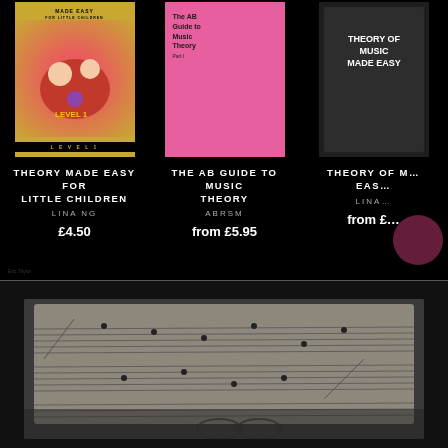[Figure (photo): Book cover: Theory Made Easy for Little Children by Lina Ng, yellow cover with cartoon characters]
THEORY MADE EASY FOR LITTLE CHILDREN
LINA NG
£4.50
[Figure (photo): Book cover: The AB Guide to Music Theory, pink cover by ABRSM]
THE AB GUIDE TO MUSIC THEORY
ABRSM
from £5.95
[Figure (photo): Book cover: Theory of Music Made Easy by Lina Ng, partially visible third product]
THEORY OF M... EAS...
LINA...
from £...
[Figure (photo): Sheet music pages spread out with a pair of glasses resting on them, dark photographic image]